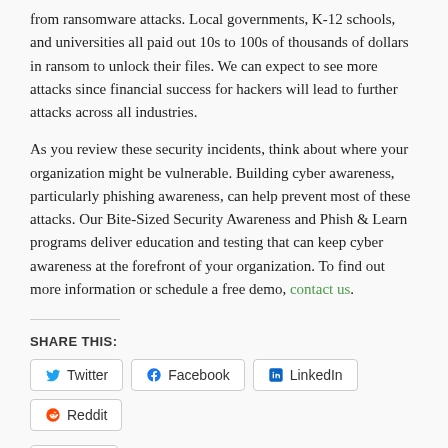from ransomware attacks. Local governments, K-12 schools, and universities all paid out 10s to 100s of thousands of dollars in ransom to unlock their files. We can expect to see more attacks since financial success for hackers will lead to further attacks across all industries.
As you review these security incidents, think about where your organization might be vulnerable. Building cyber awareness, particularly phishing awareness, can help prevent most of these attacks. Our Bite-Sized Security Awareness and Phish & Learn programs deliver education and testing that can keep cyber awareness at the forefront of your organization. To find out more information or schedule a free demo, contact us.
SHARE THIS:
Twitter Facebook LinkedIn Reddit
Like